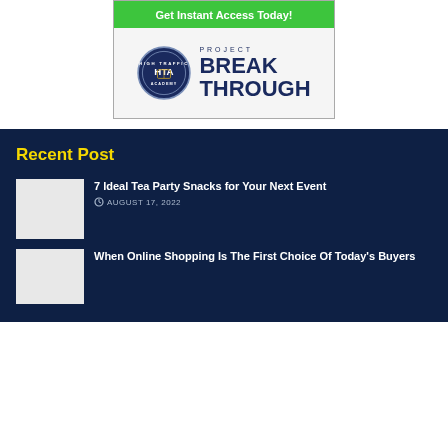[Figure (logo): Advertisement box with green 'Get Instant Access Today!' button and High Traffic Academy 'Project Breakthrough' logo]
Recent Post
7 Ideal Tea Party Snacks for Your Next Event
AUGUST 17, 2022
When Online Shopping Is The First Choice Of Today's Buyers